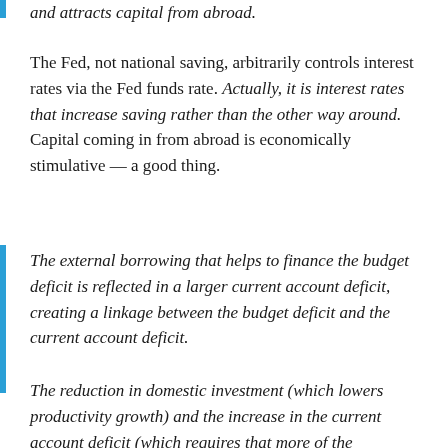and attracts capital from abroad.
The Fed, not national saving, arbitrarily controls interest rates via the Fed funds rate. Actually, it is interest rates that increase saving rather than the other way around. Capital coming in from abroad is economically stimulative — a good thing.
The external borrowing that helps to finance the budget deficit is reflected in a larger current account deficit, creating a linkage between the budget deficit and the current account deficit.
The reduction in domestic investment (which lowers productivity growth) and the increase in the current account deficit (which requires that more of the